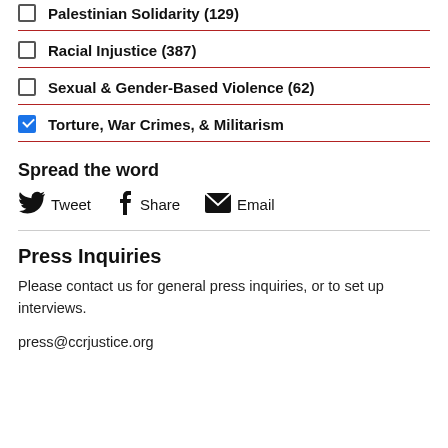Palestinian Solidarity (129)
Racial Injustice (387)
Sexual & Gender-Based Violence (62)
Torture, War Crimes, & Militarism
Spread the word
Tweet   Share   Email
Press Inquiries
Please contact us for general press inquiries, or to set up interviews.
press@ccrjustice.org